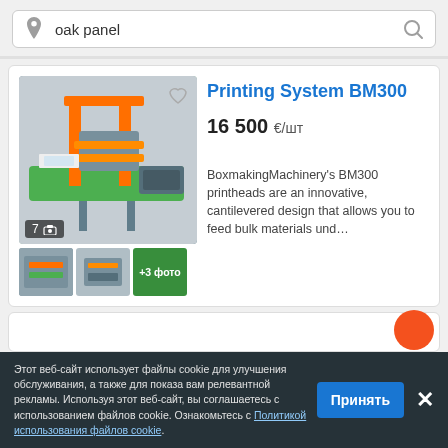[Figure (screenshot): Search bar with location pin icon, 'oak panel' search text, and magnifying glass icon]
[Figure (photo): Printing System BM300 industrial machine - main product photo showing orange and grey machine with conveyor belt]
Printing System BM300
16 500 €/шт
BoxmakingMachinery's BM300 printheads are an innovative, cantilevered design that allows you to feed bulk materials und…
Этот веб-сайт использует файлы cookie для улучшения обслуживания, а также для показа вам релевантной рекламы. Используя этот веб-сайт, вы соглашаетесь с использованием файлов cookie. Ознакомьтесь с Политикой использования файлов cookie.